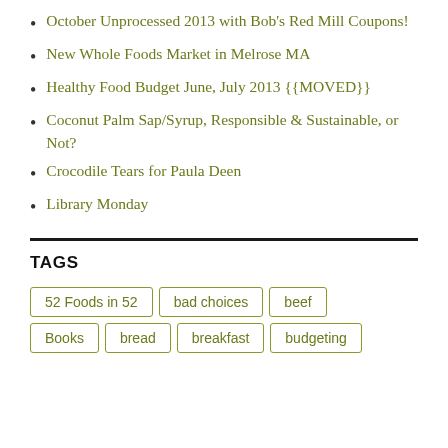October Unprocessed 2013 with Bob's Red Mill Coupons!
New Whole Foods Market in Melrose MA
Healthy Food Budget June, July 2013 {{MOVED}}
Coconut Palm Sap/Syrup, Responsible & Sustainable, or Not?
Crocodile Tears for Paula Deen
Library Monday
TAGS
52 Foods in 52  bad choices  beef  Books  bread  breakfast  budgeting